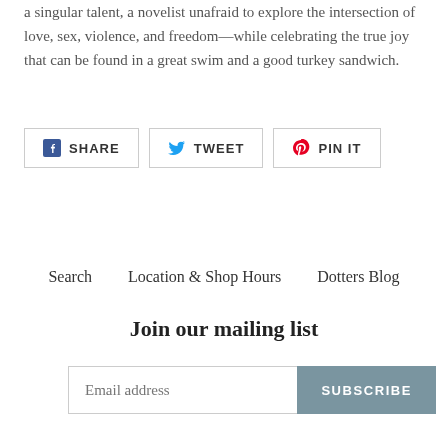a singular talent, a novelist unafraid to explore the intersection of love, sex, violence, and freedom—while celebrating the true joy that can be found in a great swim and a good turkey sandwich.
[Figure (other): Social sharing buttons: SHARE (Facebook), TWEET (Twitter), PIN IT (Pinterest)]
Search   Location & Shop Hours   Dotters Blog
Join our mailing list
Email address  SUBSCRIBE